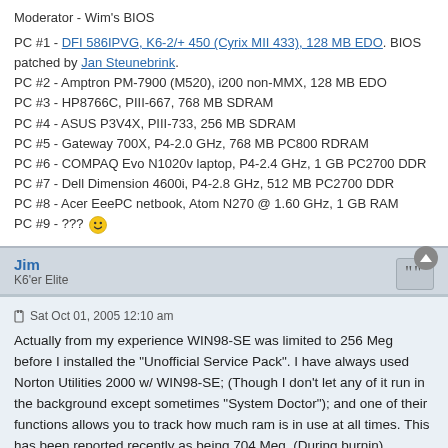Moderator - Wim's BIOS
PC #1 - DFI 586IPVG, K6-2/+ 450 (Cyrix MII 433), 128 MB EDO. BIOS patched by Jan Steunebrink.
PC #2 - Amptron PM-7900 (M520), i200 non-MMX, 128 MB EDO
PC #3 - HP8766C, PIII-667, 768 MB SDRAM
PC #4 - ASUS P3V4X, PIII-733, 256 MB SDRAM
PC #5 - Gateway 700X, P4-2.0 GHz, 768 MB PC800 RDRAM
PC #6 - COMPAQ Evo N1020v laptop, P4-2.4 GHz, 1 GB PC2700 DDR
PC #7 - Dell Dimension 4600i, P4-2.8 GHz, 512 MB PC2700 DDR
PC #8 - Acer EeePC netbook, Atom N270 @ 1.60 GHz, 1 GB RAM
PC #9 - ???
Jim
K6'er Elite
Sat Oct 01, 2005 12:10 am
Actually from my experience WIN98-SE was limited to 256 Meg before I installed the "Unofficial Service Pack". I have always used Norton Utilities 2000 w/ WIN98-SE; (Though I don't let any of it run in the background except sometimes "System Doctor"); and one of their functions allows you to track how much ram is in use at all times. This has been reported recently as being 704 Meg. (During burnin).
NEVER ONCE has it detailed the "Unofficial Service Pack" it...